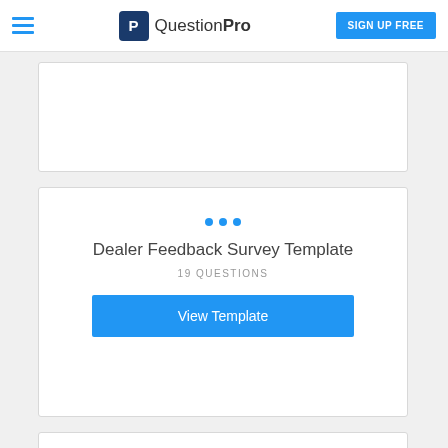QuestionPro — SIGN UP FREE
[Figure (screenshot): Empty card/template placeholder at top]
Dealer Feedback Survey Template
19 QUESTIONS
View Template
[Figure (screenshot): Empty card/template placeholder at bottom]